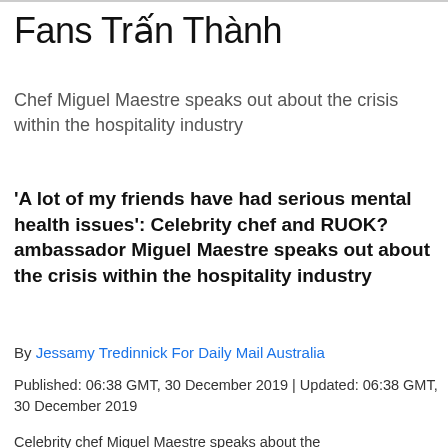Fans Trấn Thành
Chef Miguel Maestre speaks out about the crisis within the hospitality industry
'A lot of my friends have had serious mental health issues': Celebrity chef and RUOK? ambassador Miguel Maestre speaks out about the crisis within the hospitality industry
By Jessamy Tredinnick For Daily Mail Australia
Published: 06:38 GMT, 30 December 2019 | Updated: 06:38 GMT, 30 December 2019
Celebrity chef Miguel Maestre speaks about the